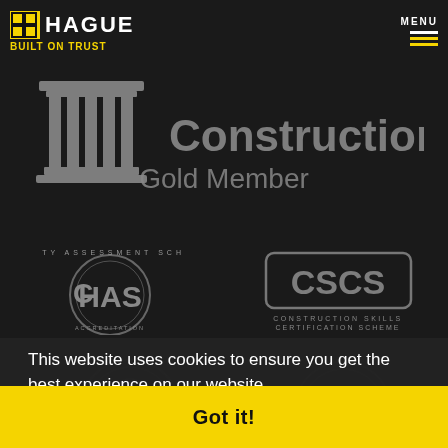[Figure (logo): Hague logo with yellow H icon and 'BUILT ON TRUST' tagline, plus hamburger menu with MENU text]
[Figure (logo): Constructionline Gold Member logo with grey pillar/column icon and grey text]
[Figure (logo): CHAS (Safety Assessment Scheme) circular badge logo in grey]
[Figure (logo): CSCS (Construction Skills Certification Scheme) rectangular logo in grey]
This website uses cookies to ensure you get the best experience on our website.
Learn more
Got it!